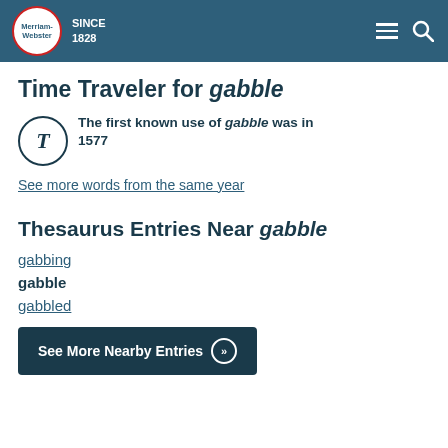[Figure (logo): Merriam-Webster logo with circular red-bordered emblem and SINCE 1828 text on teal header bar]
Time Traveler for gabble
The first known use of gabble was in 1577
See more words from the same year
Thesaurus Entries Near gabble
gabbing
gabble
gabbled
See More Nearby Entries